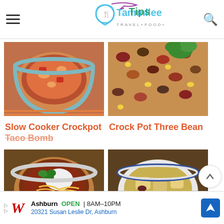Tammilee Tips — TRAVEL+FOOD+LIFE
[Figure (photo): Bowl of Slow Cooker Crockpot dish with shrimp and tomato sauce]
Slow Cooker Crockpot Taco Bomb
[Figure (photo): Close-up of colorful beans and corn for Crock Pot Three Bean dish]
Crock Pot Three Bean
[Figure (photo): Bowl of Spicy Taco Soup with sour cream, cheese, and cilantro]
Spicy Taco Soup
[Figure (photo): Bowl of Crockpot Vegetarian stew with potatoes, carrots, and kidney beans]
Crockpot Vegetarian
Ashburn  OPEN  8AM–10PM
20321 Susan Leslie Dr, Ashburn